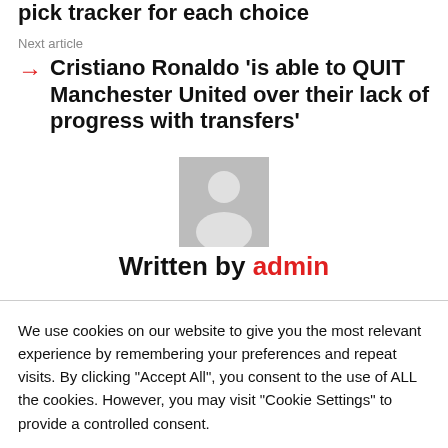pick tracker for each choice
Next article
Cristiano Ronaldo 'is able to QUIT Manchester United over their lack of progress with transfers'
[Figure (illustration): Generic user avatar placeholder image - grey background with white silhouette of a person]
Written by admin
We use cookies on our website to give you the most relevant experience by remembering your preferences and repeat visits. By clicking "Accept All", you consent to the use of ALL the cookies. However, you may visit "Cookie Settings" to provide a controlled consent.